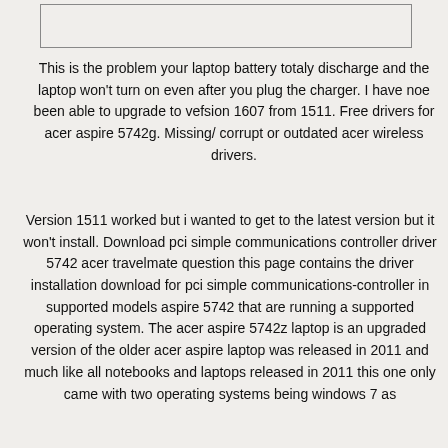[Figure (other): Empty bordered rectangle at top of page]
This is the problem your laptop battery totaly discharge and the laptop won't turn on even after you plug the charger. I have noe been able to upgrade to vefsion 1607 from 1511. Free drivers for acer aspire 5742g. Missing/ corrupt or outdated acer wireless drivers.
Version 1511 worked but i wanted to get to the latest version but it won't install. Download pci simple communications controller driver 5742 acer travelmate question this page contains the driver installation download for pci simple communications-controller in supported models aspire 5742 that are running a supported operating system. The acer aspire 5742z laptop is an upgraded version of the older acer aspire laptop was released in 2011 and much like all notebooks and laptops released in 2011 this one only came with two operating systems being windows 7 as